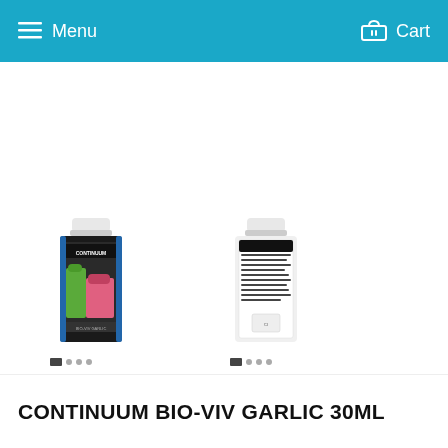Menu  Cart
[Figure (photo): Two product bottles of Continuum Bio-Viv Garlic 30ml. Left bottle shows the front label with colorful coral imagery and green/blue design. Right bottle shows the back label with product information text.]
CONTINUUM BIO-VIV GARLIC 30ML